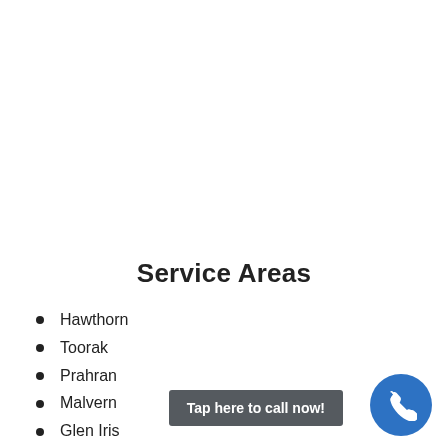Service Areas
Hawthorn
Toorak
Prahran
Malvern
Glen Iris
Camberwell
Tap here to call now!